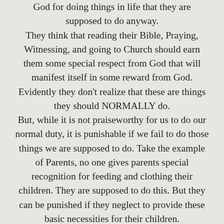God for doing things in life that they are supposed to do anyway.
They think that reading their Bible, Praying, Witnessing, and going to Church should earn them some special respect from God that will manifest itself in some reward from God. Evidently they don't realize that these are things they should NORMALLY do.
But, while it is not praiseworthy for us to do our normal duty, it is punishable if we fail to do those things we are supposed to do. Take the example of Parents, no one gives parents special recognition for feeding and clothing their children. They are supposed to do this. But they can be punished if they neglect to provide these basic necessities for their children.
Praise comes when we go beyond our duty and go the